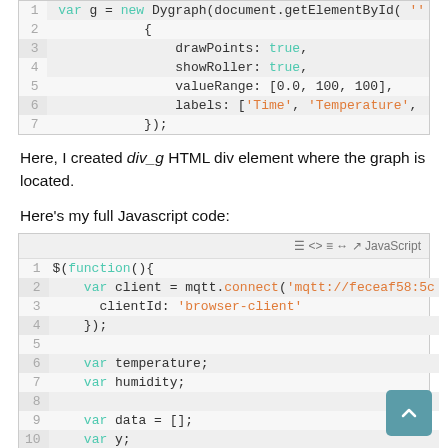[Figure (screenshot): Code block showing lines 2-7 of JavaScript/dygraph configuration with drawPoints: true, showRoller: true, valueRange: [0.0, 100, 100], labels: ['Time', 'Temperature', ...], });]
Here, I created div_g HTML div element where the graph is located.
Here's my full Javascript code:
[Figure (screenshot): JavaScript code block lines 1-11: $(function(){ var client = mqtt.connect('mqtt://feceaf58:5c...', clientId: 'browser-client' }); var temperature; var humidity; var data = []; var y; var z;]